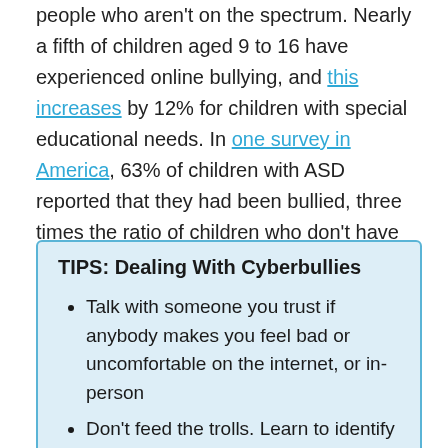people who aren't on the spectrum. Nearly a fifth of children aged 9 to 16 have experienced online bullying, and this increases by 12% for children with special educational needs. In one survey in America, 63% of children with ASD reported that they had been bullied, three times the ratio of children who don't have ASD.
TIPS: Dealing With Cyberbullies
Talk with someone you trust if anybody makes you feel bad or uncomfortable on the internet, or in-person
Don't feed the trolls. Learn to identify people who are just trying to get a reaction, usually by lying about something